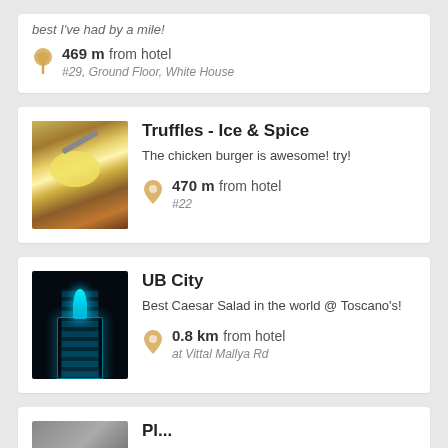best I've had by a mile!
469 m from hotel
#29, Ground Floor, White House
Truffles - Ice & Spice
The chicken burger is awesome! try!
470 m from hotel
#22
UB City
Best Caesar Salad in the world @ Toscano's!
0.8 km from hotel
at Vittal Mallya Rd
Pl...